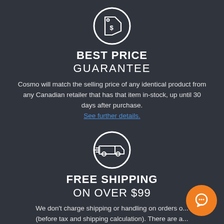[Figure (illustration): White price tag icon inside a white circle outline on dark background]
BEST PRICE GUARANTEE
Cosmo will match the selling price of any identical product from any Canadian retailer that has that item in-stock, up until 30 days after purchase. See further details.
[Figure (illustration): White delivery truck icon inside a white circle outline on dark background]
FREE SHIPPING ON OVER $99
We don't charge shipping or handling on orders o... (before tax and shipping calculation). There are a... reasonable exceptions like very large or heavy items as well as